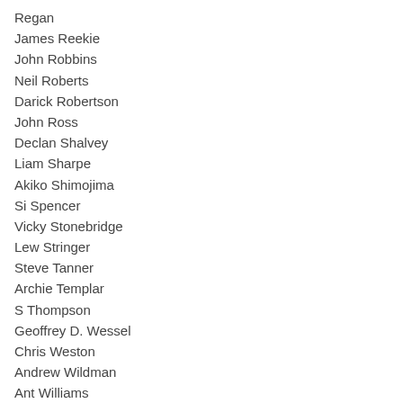Regan
James Reekie
John Robbins
Neil Roberts
Darick Robertson
John Ross
Declan Shalvey
Liam Sharpe
Akiko Shimojima
Si Spencer
Vicky Stonebridge
Lew Stringer
Steve Tanner
Archie Templar
S Thompson
Geoffrey D. Wessel
Chris Weston
Andrew Wildman
Ant Williams
Rob Williams
Sean Michael Wilson
WJC